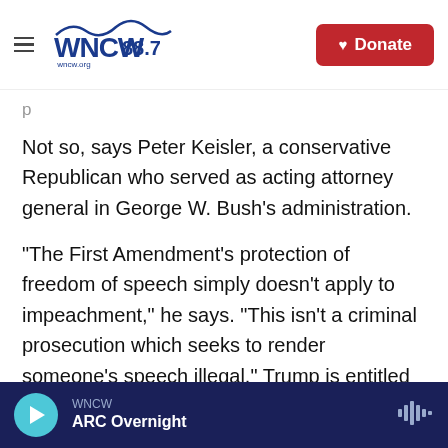WNCW 88.7 | Donate
Not so, says Peter Keisler, a conservative Republican who served as acting attorney general in George W. Bush's administration.
"The First Amendment's protection of freedom of speech simply doesn't apply to impeachment," he says. "This isn't a criminal prosecution which seeks to render someone's speech illegal." Trump is entitled to hold whatever opinions he wants and to express them, Keisler says. "But he is not entitled to assert a First Amendment defense against removal or disqualification from office ... because
WNCW | ARC Overnight